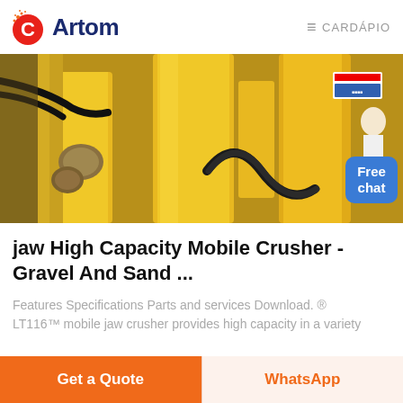Artom   ≡ CARDÁPIO
[Figure (photo): Close-up photo of yellow industrial jaw crusher machinery with black hydraulic hoses and metal fittings. A small person figure with 'Free chat' badge visible in bottom right corner.]
jaw High Capacity Mobile Crusher - Gravel And Sand ...
Features Specifications Parts and services Download. ® LT116™ mobile jaw crusher provides high capacity in a variety
Get a Quote   WhatsApp